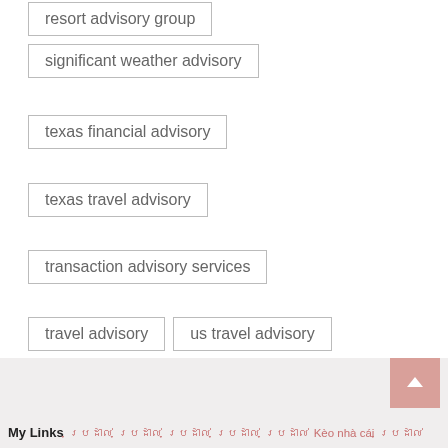resort advisory group
significant weather advisory
texas financial advisory
texas travel advisory
transaction advisory services
travel advisory
us travel advisory
water advisory
wealth advisory group
weather advisory ohio
weather travel advisory
wind advisory
My Links  ប្រដាល់  ប្រដាល់  ប្រដាល់  ប្រដាល់  ប្រដាល់  Kèo nhà cái  ប្រដាល់